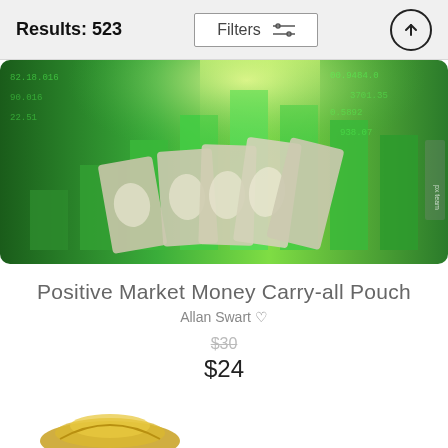Results: 523
[Figure (photo): Photo of rolled Japanese yen banknotes in front of a green bar chart background with glowing light effects and digital numbers]
Positive Market Money Carry-all Pouch
Allan Swart ♡
$30 (original price, struck through)
$24
[Figure (photo): Partial view of another product image at the bottom — appears to show a golden accessory]